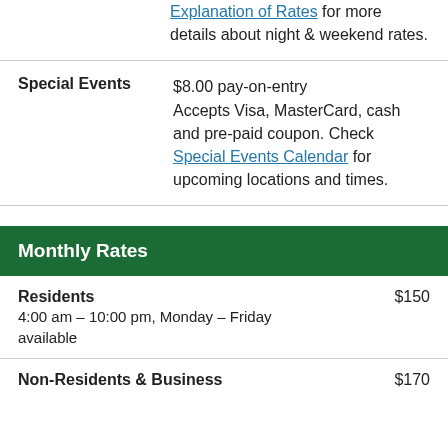Explanation of Rates for more details about night & weekend rates.
Special Events $8.00 pay-on-entry Accepts Visa, MasterCard, cash and pre-paid coupon. Check Special Events Calendar for upcoming locations and times.
Monthly Rates
Residents $150 4:00 am – 10:00 pm, Monday – Friday available
Non-Residents & Business $170